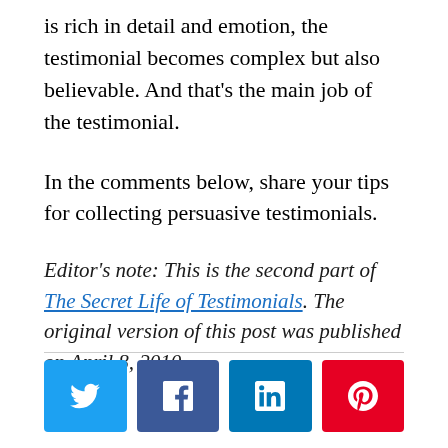is rich in detail and emotion, the testimonial becomes complex but also believable. And that's the main job of the testimonial.
In the comments below, share your tips for collecting persuasive testimonials.
Editor's note: This is the second part of The Secret Life of Testimonials. The original version of this post was published on April 8, 2010.
[Figure (other): Social share buttons: Twitter, Facebook, LinkedIn, Pinterest]